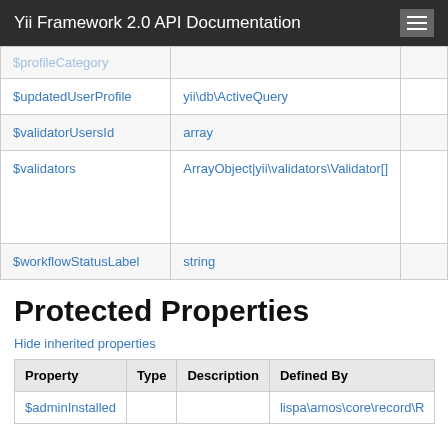Yii Framework 2.0 API Documentation
| Property | Type | Description |
| --- | --- | --- |
| $updatedUserProfile | yii\db\ActiveQuery |  |
| $validatorUsersId | array |  |
| $validators | ArrayObject|yii\validators\Validator[] |  |
| $workflowStatusLabel | string |  |
Protected Properties
Hide inherited properties
| Property | Type | Description | Defined By |
| --- | --- | --- | --- |
| $adminInstalled |  |  | lispa\amos\core\record\R... |